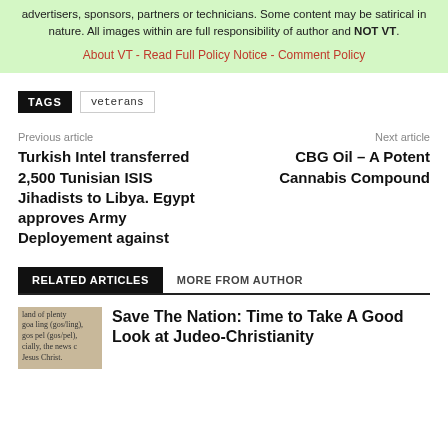advertisers, sponsors, partners or technicians. Some content may be satirical in nature. All images within are full responsibility of author and NOT VT.
About VT - Read Full Policy Notice - Comment Policy
TAGS  veterans
Previous article
Next article
Turkish Intel transferred 2,500 Tunisian ISIS Jihadists to Libya. Egypt approves Army Deployement against
CBG Oil – A Potent Cannabis Compound
RELATED ARTICLES  MORE FROM AUTHOR
Save The Nation: Time to Take A Good Look at Judeo-Christianity